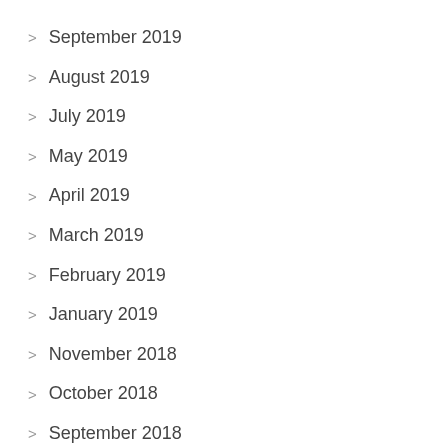September 2019
August 2019
July 2019
May 2019
April 2019
March 2019
February 2019
January 2019
November 2018
October 2018
September 2018